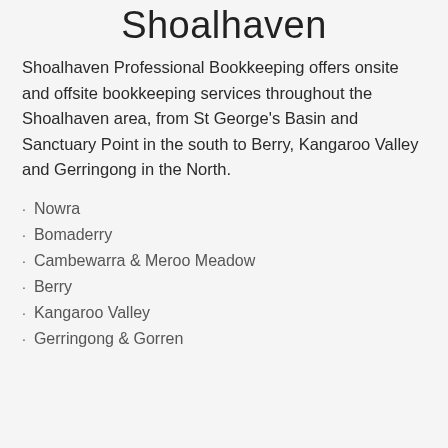Shoalhaven
Shoalhaven Professional Bookkeeping offers onsite and offsite bookkeeping services throughout the Shoalhaven area, from St George's Basin and Sanctuary Point in the south to Berry, Kangaroo Valley and Gerringong in the North.
Nowra
Bomaderry
Cambewarra & Meroo Meadow
Berry
Kangaroo Valley
Gerringong & Gorren